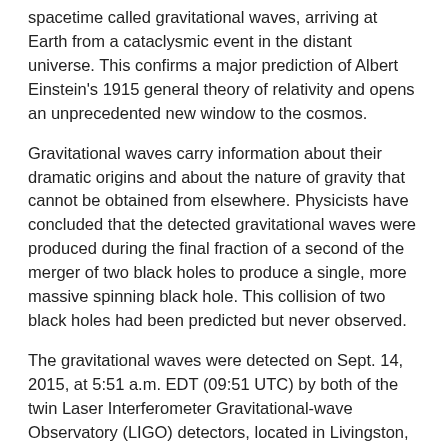spacetime called gravitational waves, arriving at Earth from a cataclysmic event in the distant universe. This confirms a major prediction of Albert Einstein's 1915 general theory of relativity and opens an unprecedented new window to the cosmos.
Gravitational waves carry information about their dramatic origins and about the nature of gravity that cannot be obtained from elsewhere. Physicists have concluded that the detected gravitational waves were produced during the final fraction of a second of the merger of two black holes to produce a single, more massive spinning black hole. This collision of two black holes had been predicted but never observed.
The gravitational waves were detected on Sept. 14, 2015, at 5:51 a.m. EDT (09:51 UTC) by both of the twin Laser Interferometer Gravitational-wave Observatory (LIGO) detectors, located in Livingston, Louisiana, and Hanford, Washington. The LIGO observatories are funded by the National Science Foundation (NSF) and were conceived, built and are operated by the California Institute of Technology (Caltech) and the Massachusetts Institute of Technology (MIT). The discovery, accepted for publication in the journal Physical Review Letters, was made by the LIGO Scientific Collaboration (which includes the...